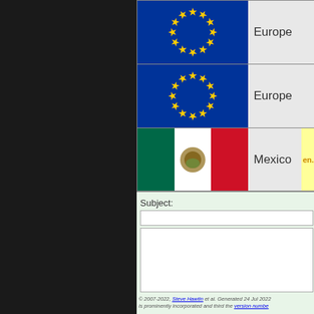[Figure (screenshot): Screenshot of a web interface showing a table of region flags. Row 1: EU flag with label 'Europe'. Row 2: EU flag with label 'Europe'. Row 3: Mexico flag with label 'Mexico' and partial text 'en.' highlighted in yellow. Below the table is a Subject input field, a textarea, and a footer copyright notice.]
Subject:
© 2007-2022, Steve Hawtin et al. Generated 24 Jul 2022 is prominently incorporated and third the version numbe